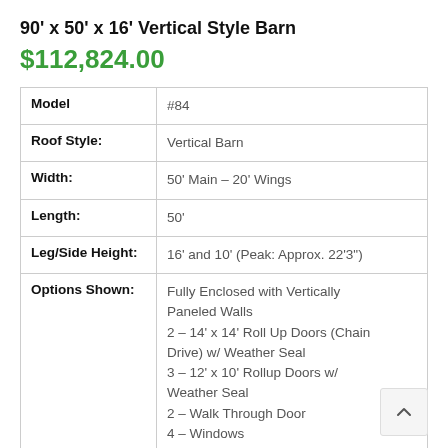90' x 50' x 16' Vertical Style Barn
$112,824.00
| Field | Value |
| --- | --- |
| Model | #84 |
| Roof Style: | Vertical Barn |
| Width: | 50' Main – 20' Wings |
| Length: | 50' |
| Leg/Side Height: | 16' and 10' (Peak: Approx. 22'3") |
| Options Shown: | Fully Enclosed with Vertically Paneled Walls
2 – 14' x 14' Roll Up Doors (Chain Drive) w/ Weather Seal
3 – 12' x 10' Rollup Doors w/ Weather Seal
2 – Walk Through Door
4 – Windows
Color match Screws |